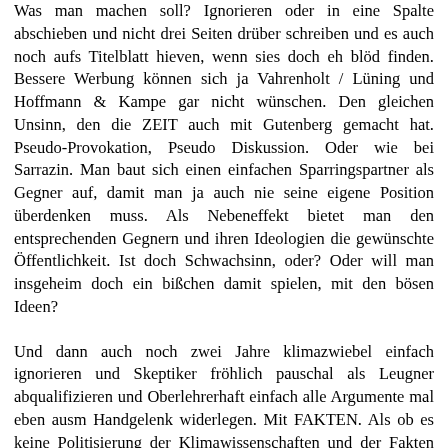Was man machen soll? Ignorieren oder in eine Spalte abschieben und nicht drei Seiten drüber schreiben und es auch noch aufs Titelblatt hieven, wenn sies doch eh blöd finden. Bessere Werbung können sich ja Vahrenholt / Lüning und Hoffmann & Kampe gar nicht wünschen. Den gleichen Unsinn, den die ZEIT auch mit Gutenberg gemacht hat. Pseudo-Provokation, Pseudo Diskussion. Oder wie bei Sarrazin. Man baut sich einen einfachen Sparringspartner als Gegner auf, damit man ja auch nie seine eigene Position überdenken muss. Als Nebeneffekt bietet man den entsprechenden Gegnern und ihren Ideologien die gewünschte Öffentlichkeit. Ist doch Schwachsinn, oder? Oder will man insgeheim doch ein bißchen damit spielen, mit den bösen Ideen?
Und dann auch noch zwei Jahre klimazwiebel einfach ignorieren und Skeptiker fröhlich pauschal als Leugner abqualifizieren und Oberlehrerhaft einfach alle Argumente mal eben ausm Handgelenk widerlegen. Mit FAKTEN. Als ob es keine Politisierung der Klimawissenschaften und der Fakten gegeben hätte. Als ob nicht jedes einzelne Argument inzwischen eine Geschichte hätte und die Diskussion sich nicht weiter entwickelt hätte. Als ob es